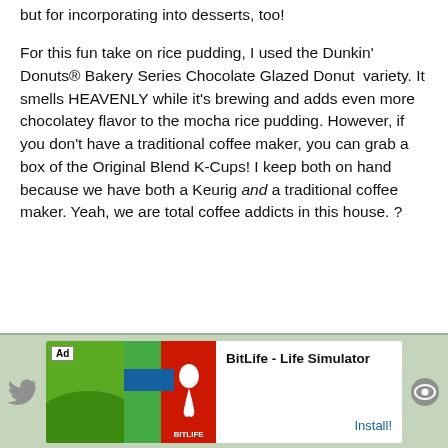but for incorporating into desserts, too!
For this fun take on rice pudding, I used the Dunkin' Donuts® Bakery Series Chocolate Glazed Donut  variety. It smells HEAVENLY while it's brewing and adds even more chocolatey flavor to the mocha rice pudding. However, if you don't have a traditional coffee maker, you can grab a box of the Original Blend K-Cups! I keep both on hand because we have both a Keurig and a traditional coffee maker. Yeah, we are total coffee addicts in this house. ?
[Figure (screenshot): Advertisement banner at the bottom of the page for BitLife - Life Simulator app, showing green and red game imagery with an Install! button. Social media share icons (Twitter bird, eye/share) flank the ad.]